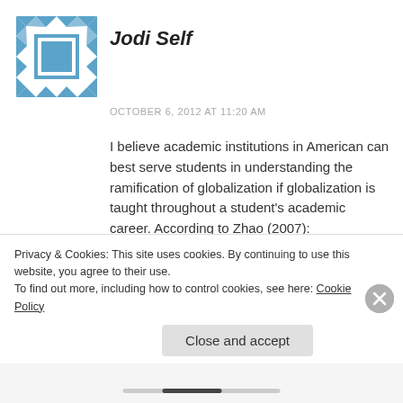[Figure (illustration): Avatar icon: geometric quilt-pattern in teal/blue and white on white background, square with decorative border motif]
Jodi Self
OCTOBER 6, 2012 AT 11:20 AM
I believe academic institutions in American can best serve students in understanding the ramification of globalization if globalization is taught throughout a student's academic career. According to Zhao (2007):
American schools are not adequately preparing students to develop global knowledge and skills.
According to the Committee for Economic
Privacy & Cookies: This site uses cookies. By continuing to use this website, you agree to their use.
To find out more, including how to control cookies, see here: Cookie Policy
Close and accept